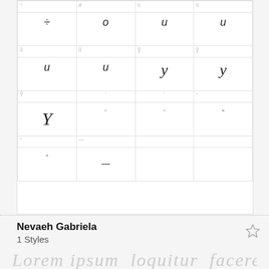| ÷/o | ø/o | ü/u | ü/u |
| --- | --- | --- | --- |
| ÷ | o | u | u |
| ũ / u | ũ / u | ỹ / y | ỹ / y |
| u | u | y (script) | y (script) |
| Ỹ / Y | ʻ | ʻ | " |
| Y (script) | ʻ | ʻ | " |
| " / – | – |  |  |
Nevaeh Gabriela
1 Styles
[Figure (illustration): Script font preview showing cursive text in light gray]